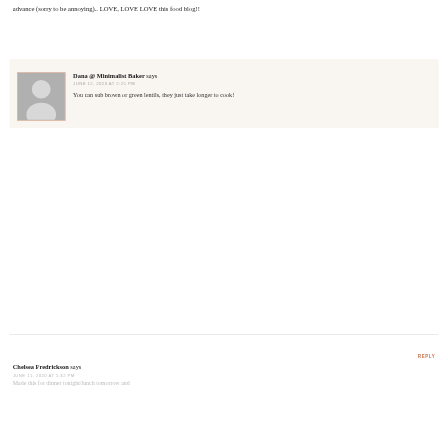advance (sorry to be annoying).. LOVE, LOVE LOVE this food blog!!
REPLY
Dana @ Minimalist Baker says
JUNE 12, 2020 AT 2:25 PM
You can sub brown or green lentils, they just take longer to cook!
REPLY
Chelsea Fredrickson says
JUNE 11, 2020 AT 5:32 PM
Made this for dinner tonight/lunch tomorrow and